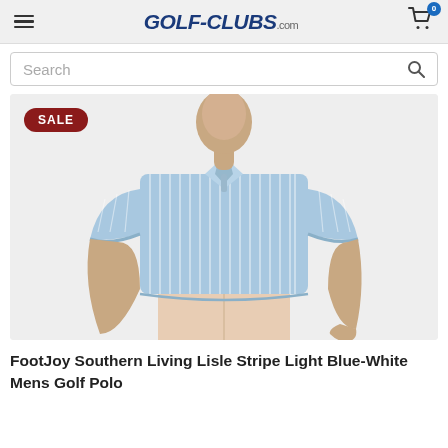GOLF-CLUBS.com
[Figure (screenshot): E-commerce website header with hamburger menu on left, GOLF-CLUBS.com logo in center, and shopping cart icon with 0 badge on right, followed by a search bar]
[Figure (photo): Man wearing a light blue and white stripe polo shirt (FootJoy Southern Living Lisle Stripe) with khaki/light pink trousers, shown from mid-torso up with a SALE badge overlay in the top-left of the product image area]
FootJoy Southern Living Lisle Stripe Light Blue-White Mens Golf Polo